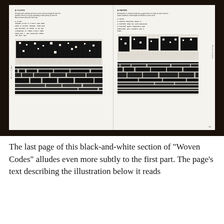[Figure (photo): A photograph of an open book showing two pages from 'Woven Codes'. The left page is titled 'A CLOTH' and contains small descriptive text followed by a typeset poem in monospace font reading 'ENOUGH CLOTH IS PLENTY AND MORE / MORE IS ALMOST ENOUGH...' Below the text are two woven textile pattern diagrams in black and white. The right page is titled 'A PAPER' and similarly contains small text followed by a monospace poem and two woven textile pattern diagrams. Spine labels read 'Woven Codes' on both sides. Page number 51 appears at bottom right.]
The last page of this black-and-white section of “Woven Codes” alludes even more subtly to the first part. The page’s text describing the illustration below it reads